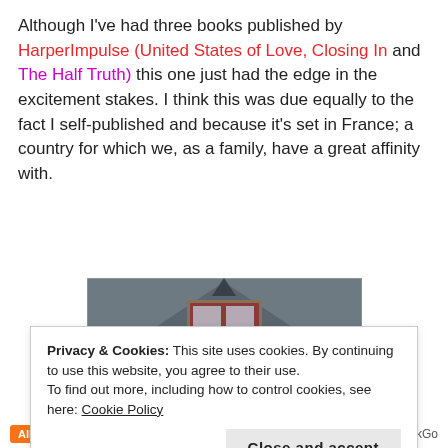Although I've had three books published by HarperImpulse (United States of Love, Closing In and The Half Truth) this one just had the edge in the excitement stakes. I think this was due equally to the fact I self-published and because it's set in France; a country for which we, as a family, have a great affinity with.
[Figure (photo): Photograph of a stone building dormer window with a triangular roof, stone walls, and a reddish-brown window frame, taken outdoors.]
Privacy & Cookies: This site uses cookies. By continuing to use this website, you agree to their use.
To find out more, including how to control cookies, see here: Cookie Policy
Close and accept
All in One Free App    DuckDuckGo